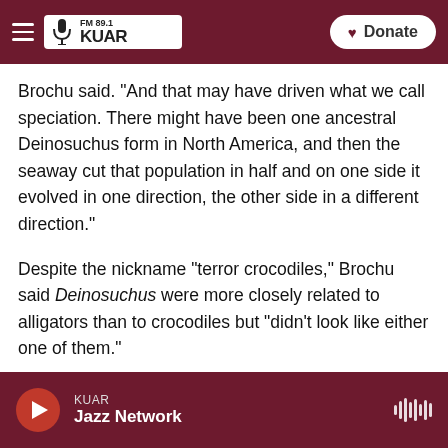FM 89.1 KUAR | NPR — Donate
Brochu said. "And that may have driven what we call speciation. There might have been one ancestral Deinosuchus form in North America, and then the seaway cut that population in half and on one side it evolved in one direction, the other side in a different direction."
Despite the nickname "terror crocodiles," Brochu said Deinosuchus were more closely related to alligators than to crocodiles but "didn't look like either one of them."
Deinosuchus had a snout that was long and broad,
KUAR — Jazz Network